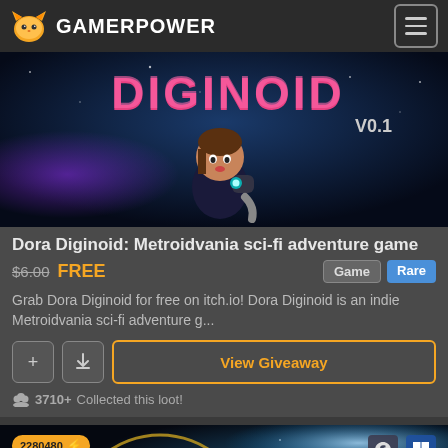GAMERPOWER
[Figure (screenshot): Dora Diginoid game banner showing game character and title text 'DIGINOID V0.1' on dark space background]
Dora Diginoid: Metroidvania sci-fi adventure game
$6.00 FREE — Game Rare
Grab Dora Diginoid for free on itch.io! Dora Diginoid is an indie Metroidvania sci-fi adventure g...
View Giveaway
3710+ Collected this loot!
[Figure (screenshot): Endless Space game banner showing space background with 'ENDLESS SPACE' title text, number badge 2280480 and platform icons for Steam and Windows]